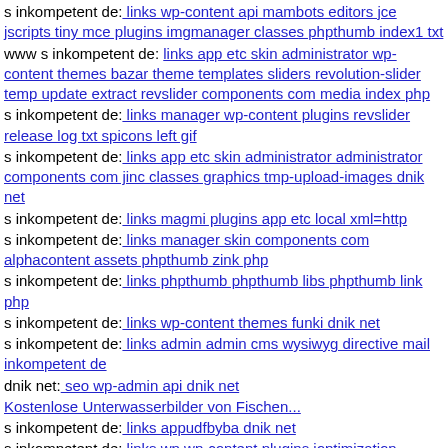s inkompetent de: links wp-content api mambots editors jce jscripts tiny mce plugins imgmanager classes phpthumb index1 txt
www s inkompetent de: links app etc skin administrator wp-content themes bazar theme templates sliders revolution-slider temp update extract revslider components com media index php
s inkompetent de: links manager wp-content plugins revslider release log txt spicons left gif
s inkompetent de: links app etc skin administrator administrator components com jinc classes graphics tmp-upload-images dnik net
s inkompetent de: links magmi plugins app etc local xml=http
s inkompetent de: links manager skin components com alphacontent assets phpthumb zink php
s inkompetent de: links phpthumb phpthumb libs phpthumb link php
s inkompetent de: links wp-content themes funki dnik net
s inkompetent de: links admin admin cms wysiwyg directive mail inkompetent de
dnik net: seo wp-admin api dnik net
Kostenlose Unterwasserbilder von Fischen...
s inkompetent de: links appudfbyba dnik net
s inkompetent de: links wp wp-content plugins ioptimization ioptimize php
dnik net: seo wp-content plugins wp-symposium dnik net
www dnik net: seo js tinymce wso php
s inkompetent de: links app etc skin skin insom php